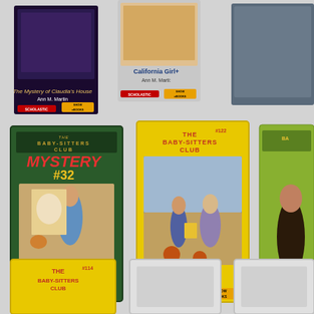[Figure (photo): Grid of Baby-Sitters Club book covers from Scholastic, including 'The Mystery of Claudia's House' by Ann M. Martin, 'California Girls!' by Ann M. Martin, Mystery #32 'Claudia and the Mystery in the Painting' by Ann M. Martin (green cover), #122 'Kristy in Charge' by Ann M. Martin (yellow cover), a partially visible green cover, a partially visible yellow #114 cover, and two blank/loading book placeholders. Books show 'Show eBooks' badges and Scholastic branding.]